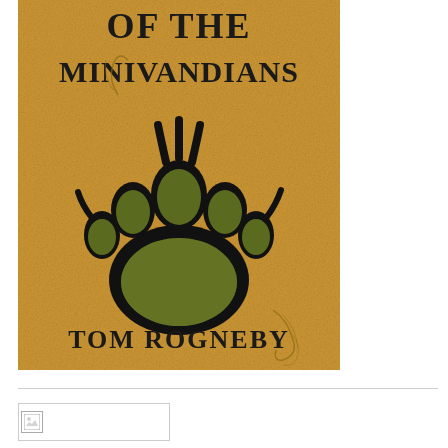[Figure (illustration): Book cover for 'Minivandians' by Tom Rogneby. Sandy/tan textured background with large black bear paw print containing olive green textured interior. Text at top reads 'OF THE MINIVANDIANS' in bold black serif font. Author name 'TOM ROGNEBY' at bottom in black serif font. Decorative swirl/vine elements visible.]
[Figure (photo): Small thumbnail image placeholder with a broken/loading image icon on the left side.]